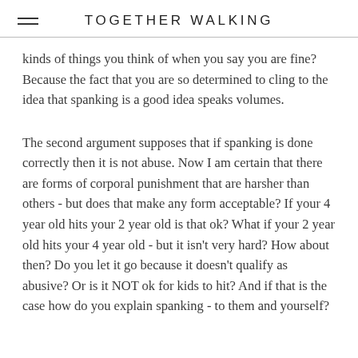TOGETHER WALKING
kinds of things you think of when you say you are fine? Because the fact that you are so determined to cling to the idea that spanking is a good idea speaks volumes.
The second argument supposes that if spanking is done correctly then it is not abuse. Now I am certain that there are forms of corporal punishment that are harsher than others - but does that make any form acceptable? If your 4 year old hits your 2 year old is that ok? What if your 2 year old hits your 4 year old - but it isn't very hard? How about then? Do you let it go because it doesn't qualify as abusive? Or is it NOT ok for kids to hit? And if that is the case how do you explain spanking - to them and yourself?